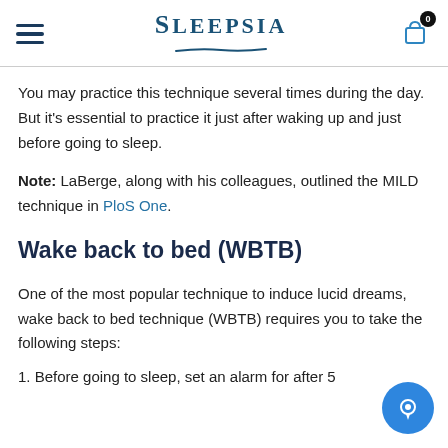Sleepsia
You may practice this technique several times during the day. But it's essential to practice it just after waking up and just before going to sleep.
Note: LaBerge, along with his colleagues, outlined the MILD technique in PloS One.
Wake back to bed (WBTB)
One of the most popular technique to induce lucid dreams, wake back to bed technique (WBTB) requires you to take the following steps:
1. Before going to sleep, set an alarm for after 5